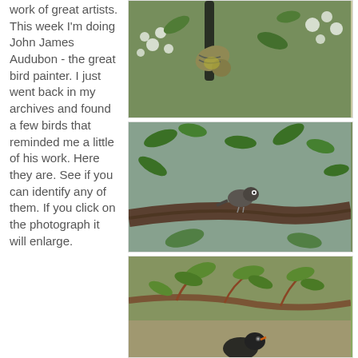work of great artists. This week I'm doing John James Audubon - the great bird painter. I just went back in my archives and found a few birds that reminded me a little of his work. Here they are. See if you can identify any of them. If you click on the photograph it will enlarge.
[Figure (photo): Close-up photo of a small bird hanging upside down on a dark branch among white flowers and green leaves, with a blurred green background.]
[Figure (photo): Photo of a small dark bird perched on a thick branch surrounded by green leafy foliage, with a soft blurred background.]
[Figure (photo): Photo of a bird among leafy green branches with reddish-brown stems, partially visible at the bottom of the frame.]